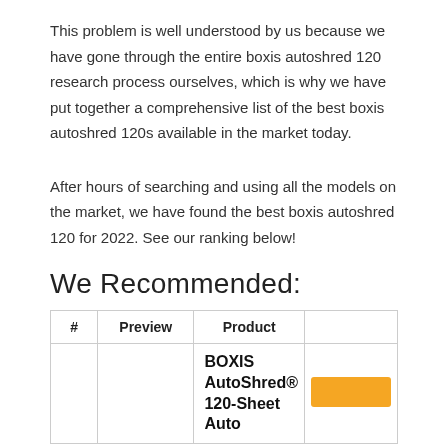This problem is well understood by us because we have gone through the entire boxis autoshred 120 research process ourselves, which is why we have put together a comprehensive list of the best boxis autoshred 120s available in the market today.
After hours of searching and using all the models on the market, we have found the best boxis autoshred 120 for 2022. See our ranking below!
We Recommended:
| # | Preview | Product |  |
| --- | --- | --- | --- |
|  |  | BOXIS AutoShred® 120-Sheet Auto |  |